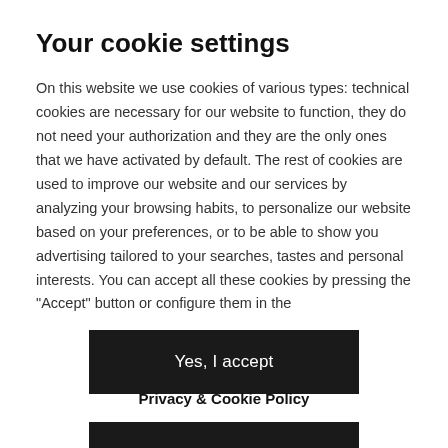Your cookie settings
On this website we use cookies of various types: technical cookies are necessary for our website to function, they do not need your authorization and they are the only ones that we have activated by default. The rest of cookies are used to improve our website and our services by analyzing your browsing habits, to personalize our website based on your preferences, or to be able to show you advertising tailored to your searches, tastes and personal interests. You can accept all these cookies by pressing the "Accept" button or configure them in the
Yes, I accept
Privacy & Cookie Policy